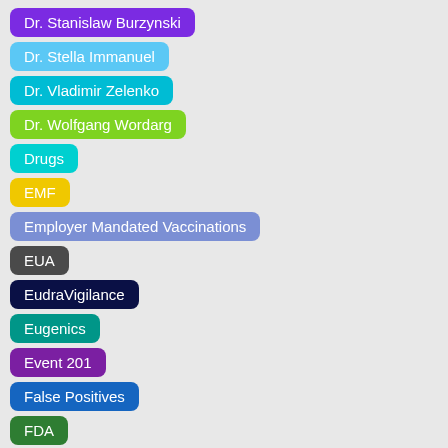Dr. Stanislaw Burzynski
Dr. Stella Immanuel
Dr. Vladimir Zelenko
Dr. Wolfgang Wordarg
Drugs
EMF
Employer Mandated Vaccinations
EUA
EudraVigilance
Eugenics
Event 201
False Positives
FDA
FLCCC
FOIA
Forced Sterilization
Forum of Young Global Leaders